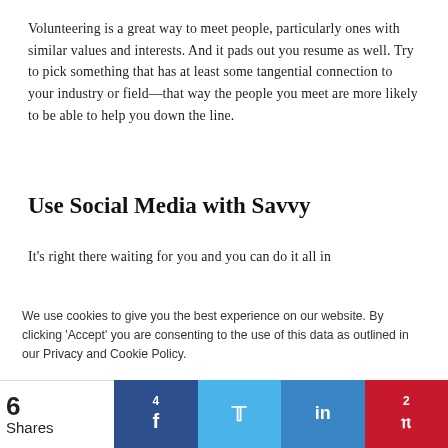Volunteering is a great way to meet people, particularly ones with similar values and interests. And it pads out you resume as well. Try to pick something that has at least some tangential connection to your industry or field—that way the people you meet are more likely to be able to help you down the line.
Use Social Media with Savvy
It's right there waiting for you and you can do it all in
We use cookies to give you the best experience on our website. By clicking 'Accept' you are consenting to the use of this data as outlined in our Privacy and Cookie Policy.